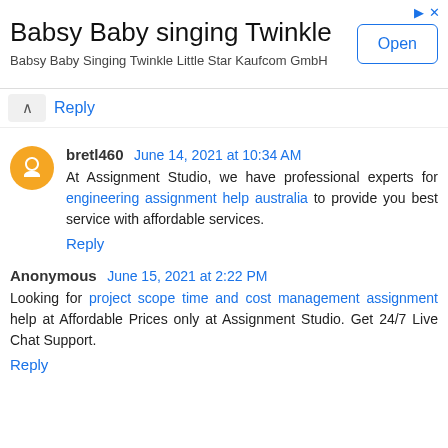[Figure (other): Advertisement banner for 'Babsy Baby singing Twinkle' app with Open button]
Reply
bretl460  June 14, 2021 at 10:34 AM
At Assignment Studio, we have professional experts for engineering assignment help australia to provide you best service with affordable services.
Reply
Anonymous  June 15, 2021 at 2:22 PM
Looking for project scope time and cost management assignment help at Affordable Prices only at Assignment Studio. Get 24/7 Live Chat Support.
Reply